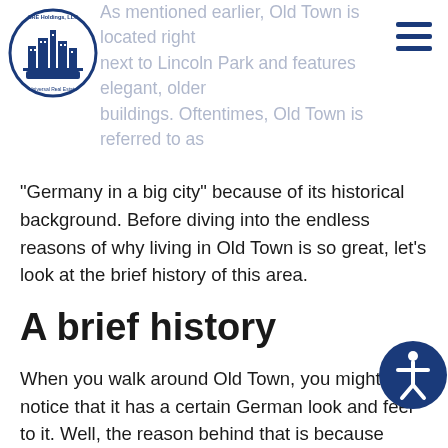As mentioned earlier, Old Town is located right next to Lincoln Park and features elegant, older buildings. Oftentimes, Old Town is referred to as
"Germany in a big city" because of its historical background. Before diving into the endless reasons of why living in Old Town is so great, let's look at the brief history of this area.
A brief history
When you walk around Old Town, you might notice that it has a certain German look and feel to it. Well, the reason behind that is because German immigrants were the first people to live in the area. Back in the 19th century, German immigrants moved to what is now known as North Avenue and planted crops like celery,